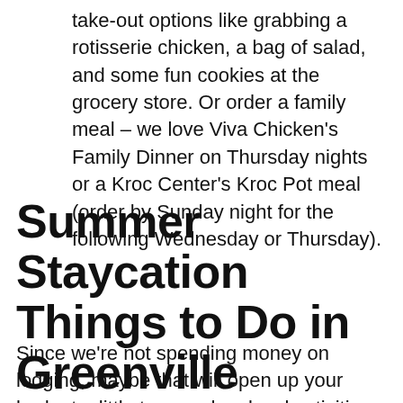take-out options like grabbing a rotisserie chicken, a bag of salad, and some fun cookies at the grocery store. Or order a family meal – we love Viva Chicken's Family Dinner on Thursday nights or a Kroc Center's Kroc Pot meal (order by Sunday night for the following Wednesday or Thursday).
Summer Staycation Things to Do in Greenville
Since we're not spending money on lodging, maybe that will open up your budget a little to spend on local activities that you